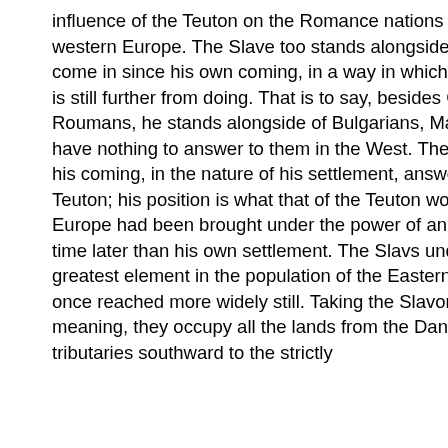influence of the Teuton on the Romance nations and languages of western Europe. The Slave too stands alongside of races which have come in since his own coming, in a way in which the Teuton in the West is still further from doing. That is to say, besides Greeks, Albanians, and Roumans, he stands alongside of Bulgarians, Magyars, and Turks, who have nothing to answer to them in the West. The Slave, in the time of his coming, in the nature of his settlement, answers roughly to the Teuton; his position is what that of the Teuton would be if western Europe had been brought under the power of an alien race at some time later than his own settlement. The Slavs undoubtedly form the greatest element in the population of the Eastern peninsula, and they once reached more widely still. Taking the Slavonic name in its widest meaning, they occupy all the lands from the Danube and its great tributaries southward to the strictly